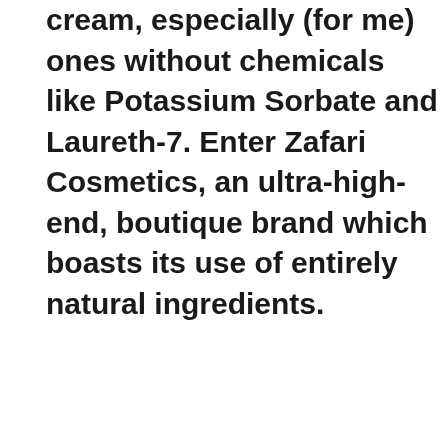cream, especially (for me) ones without chemicals like Potassium Sorbate and Laureth-7. Enter Zafari Cosmetics, an ultra-high-end, boutique brand which boasts its use of entirely natural ingredients.